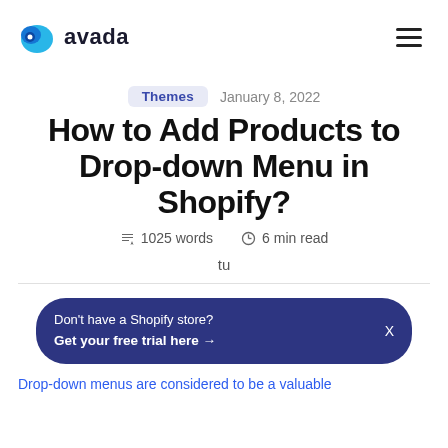avada
Themes   January 8, 2022
How to Add Products to Drop-down Menu in Shopify?
1025 words   6 min read
tu
Don't have a Shopify store? Get your free trial here →  X
Drop-down menus are considered to be a valuable